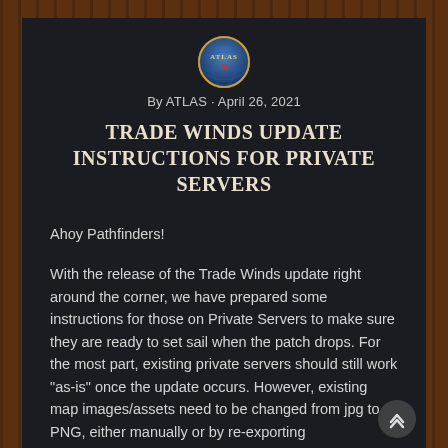[Figure (logo): ATLAS game logo — circular emblem with globe and stylized text]
By ATLAS · April 26, 2021
TRADE WINDS UPDATE INSTRUCTIONS FOR PRIVATE SERVERS
Ahoy Pathfinders!
With the release of the Trade Winds update right around the corner, we have prepared some instructions for those on Private Servers to make sure they are ready to set sail when the patch drops. For the most part, existing private servers should still work "as-is" once the update occurs. However, existing map images/assets need to be changed from jpg to PNG, either manually or by re-exporting